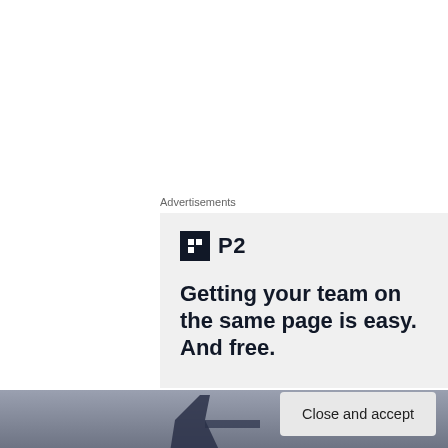Advertisements
[Figure (screenshot): P2 advertisement with logo icon and text: Getting your team on the same page is easy. And free.]
[Figure (photo): Aircraft tail fin visible against a grey sky background]
Privacy & Cookies: This site uses cookies. By continuing to use this website, you agree to their use.
To find out more, including how to control cookies, see here: Cookie Policy
Close and accept